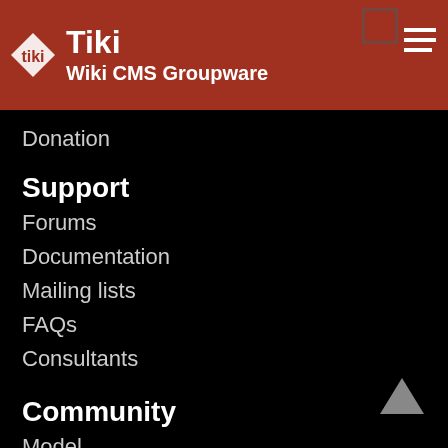Tiki Wiki CMS Groupware
Donation
Support
Forums
Documentation
Mailing lists
FAQs
Consultants
Community
Model
Join Tiki
Feature request
Bug report
Roadmap
Featured Tikis
Events
Vid…